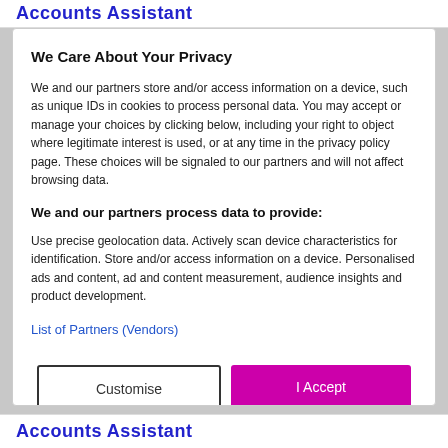Accounts Assistant
We Care About Your Privacy
We and our partners store and/or access information on a device, such as unique IDs in cookies to process personal data. You may accept or manage your choices by clicking below, including your right to object where legitimate interest is used, or at any time in the privacy policy page. These choices will be signaled to our partners and will not affect browsing data.
We and our partners process data to provide:
Use precise geolocation data. Actively scan device characteristics for identification. Store and/or access information on a device. Personalised ads and content, ad and content measurement, audience insights and product development.
List of Partners (Vendors)
Accounts Assistant